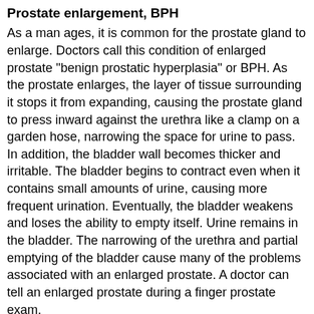Prostate enlargement, BPH
As a man ages, it is common for the prostate gland to enlarge. Doctors call this condition of enlarged prostate "benign prostatic hyperplasia" or BPH. As the prostate enlarges, the layer of tissue surrounding it stops it from expanding, causing the prostate gland to press inward against the urethra like a clamp on a garden hose, narrowing the space for urine to pass. In addition, the bladder wall becomes thicker and irritable. The bladder begins to contract even when it contains small amounts of urine, causing more frequent urination. Eventually, the bladder weakens and loses the ability to empty itself. Urine remains in the bladder. The narrowing of the urethra and partial emptying of the bladder cause many of the problems associated with an enlarged prostate. A doctor can tell an enlarged prostate during a finger prostate exam.
Results from multiple preclinical and clinical studies indicate that several modifiable, age-related metabolic aberrations (metabolic syndrome, obesity, high cholesterol or triglyceride leves, diabetes) are important determinants in both the development and the progression of BPH.
Symptoms of BPH
The symptoms of an enlarged prostate vary, but the most common ones involve changes or problems with urination.